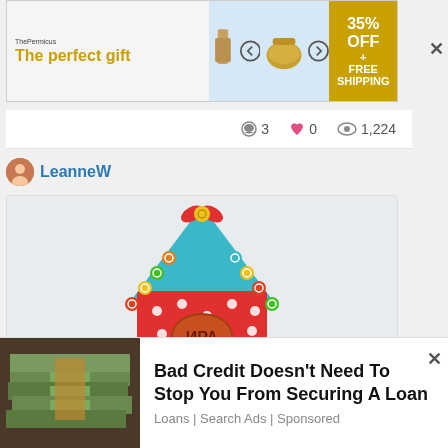[Figure (screenshot): Top advertisement banner: 'The perfect gift' with 35% OFF + FREE SHIPPING offer, showing kitchen/food product imagery]
💬 3   ♥ 0   👁 1,224
LeanneW
[Figure (photo): Colorful children's cake or craft shaped like a birdhouse with bright buttons, birds, red polka dots, teal triangle, and a red bow on top. Cyrillic text 'ИРА' on a round oval.]
[Figure (screenshot): Bottom advertisement: 'Bad Credit Doesn't Need To Stop You From Securing A Loan' with image of stacked US dollar bills. Source: Loans | Search Ads | Sponsored]